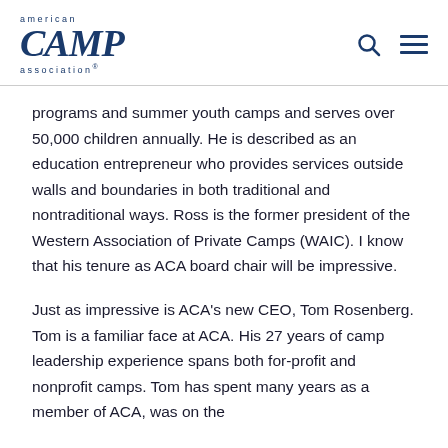american CAMP association®
programs and summer youth camps and serves over 50,000 children annually. He is described as an education entrepreneur who provides services outside walls and boundaries in both traditional and nontraditional ways. Ross is the former president of the Western Association of Private Camps (WAIC). I know that his tenure as ACA board chair will be impressive.
Just as impressive is ACA's new CEO, Tom Rosenberg. Tom is a familiar face at ACA. His 27 years of camp leadership experience spans both for-profit and nonprofit camps. Tom has spent many years as a member of ACA, was on the